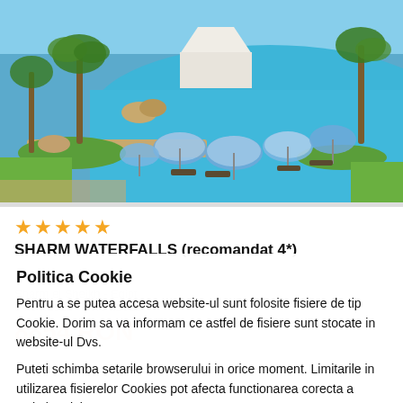[Figure (photo): Aerial/elevated view of a luxury resort pool area with blue water, striped beach umbrellas, lounge chairs, palm trees, and tropical landscaping at Sharm el Sheikh, Egypt.]
★★★★★
SHARM WATERFALLS (recomandat 4*)
✈ Transport: Avion
Sharm el Sheikh - Egipt
04.04.2022 - 30.04.2022
8854 RON
Politica Cookie
Pentru a se putea accesa website-ul sunt folosite fisiere de tip Cookie. Dorim sa va informam ce astfel de fisiere sunt stocate in website-ul Dvs.
Puteti schimba setarile browserului in orice moment. Limitarile in utilizarea fisierelor Cookies pot afecta functionarea corecta a website-ului.
Sunt de acord
Dissallow cookies